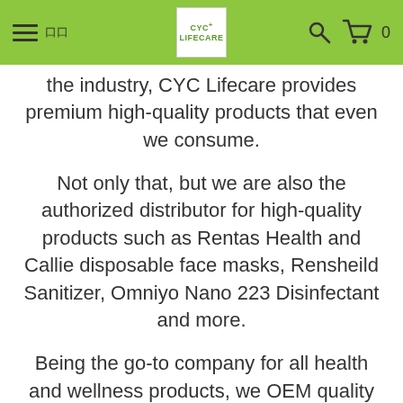CYC Lifecare navigation bar
the industry, CYC Lifecare provides premium high-quality products that even we consume.
Not only that, but we are also the authorized distributor for high-quality products such as Rentas Health and Callie disposable face masks, Rensheild Sanitizer, Omniyo Nano 223 Disinfectant and more.
Being the go-to company for all health and wellness products, we OEM quality health and wellness products for the consumers in the